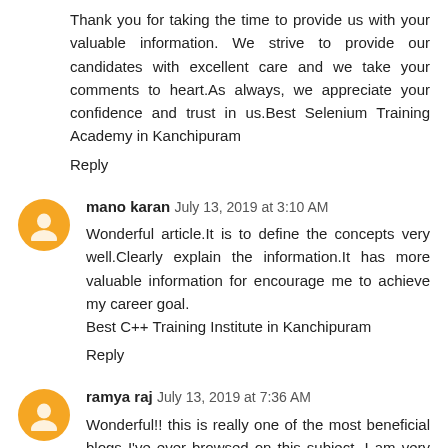Thank you for taking the time to provide us with your valuable information. We strive to provide our candidates with excellent care and we take your comments to heart.As always, we appreciate your confidence and trust in us.Best Selenium Training Academy in Kanchipuram
Reply
mano karan July 13, 2019 at 3:10 AM
Wonderful article.It is to define the concepts very well.Clearly explain the information.It has more valuable information for encourage me to achieve my career goal.
Best C++ Training Institute in Kanchipuram
Reply
ramya raj July 13, 2019 at 7:36 AM
Wonderful!! this is really one of the most beneficial blogs I've ever browsed on this subject. I am very glad to read such a great blog and thank you for